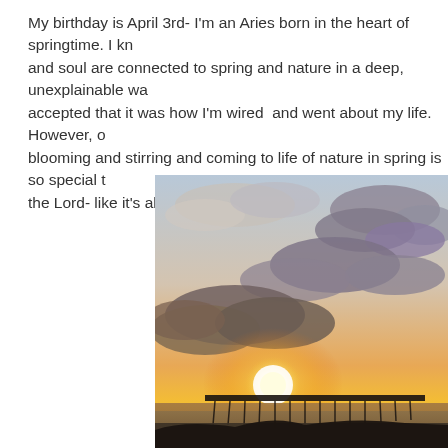My birthday is April 3rd- I'm an Aries born in the heart of springtime. I know my mind and soul are connected to spring and nature in a deep, unexplainable way, and I've always accepted that it was how I'm wired and went about my life. However, one day I realized the blooming and stirring and coming to life of nature in spring is so special to me because of the Lord- like it's all happening especially for me.
[Figure (photo): Sunset over a beach pier with dramatic clouds, golden and orange sky, ocean waves visible]